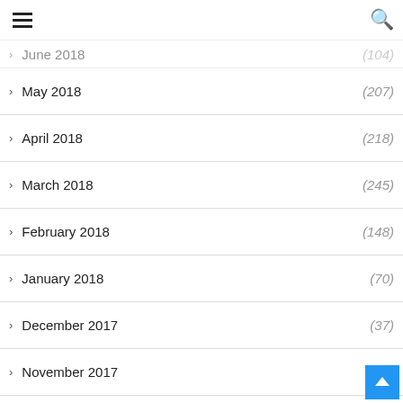≡ [menu] [search]
June 2018 (104)
May 2018 (207)
April 2018 (218)
March 2018 (245)
February 2018 (148)
January 2018 (70)
December 2017 (37)
November 2017 (19)
October 2017 (9)
September 2017 (11)